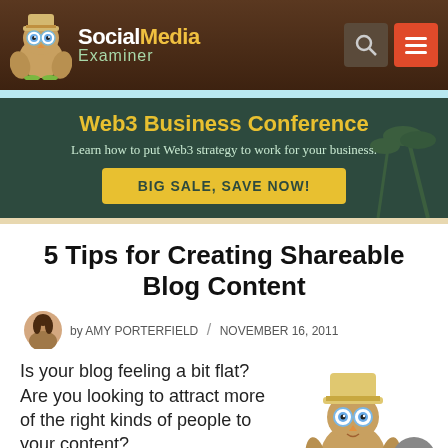[Figure (logo): Social Media Examiner logo with cartoon owl mascot wearing explorer hat]
[Figure (infographic): Search icon button (dark brown square with magnifying glass) and hamburger menu icon button (red square with three horizontal lines)]
[Figure (infographic): Web3 Business Conference advertisement banner on dark green background with yellow title text, white subtitle, and yellow CTA button]
5 Tips for Creating Shareable Blog Content
by AMY PORTERFIELD / NOVEMBER 16, 2011
Is your blog feeling a bit flat? Are you looking to attract more of the right kinds of people to your content?